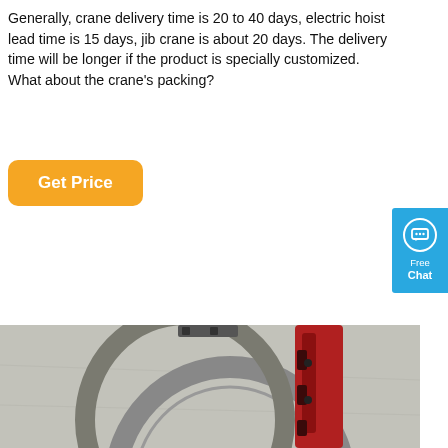Generally, crane delivery time is 20 to 40 days, electric hoist lead time is 15 days, jib crane is about 20 days. The delivery time will be longer if the product is specially customized. What about the crane's packing?
[Figure (other): Orange rounded-rectangle button labeled 'Get Price']
[Figure (other): Blue 'Free Chat' widget with chat bubble icon on the right edge of the page]
[Figure (photo): Photo of a large metal crane slewing ring / end carriage component, painted red with a grey ring, resting on a concrete surface]